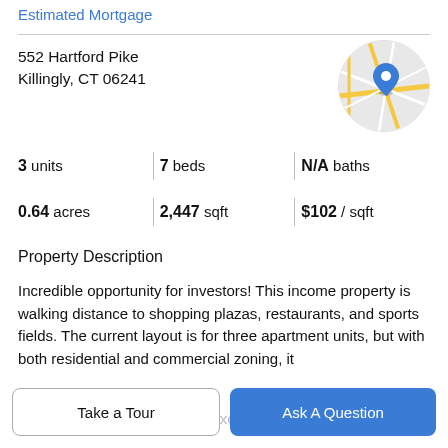Estimated Mortgage
552 Hartford Pike
Killingly, CT 06241
[Figure (map): Circular map thumbnail showing street map with a blue location pin marker at the property location.]
| 3 units | 7 beds | N/A baths |
| 0.64 acres | 2,447 sqft | $102 / sqft |
Property Description
Incredible opportunity for investors! This income property is walking distance to shopping plazas, restaurants, and sports fields. The current layout is for three apartment units, but with both residential and commercial zoning, it could be transformed into a mixed-use building. The first
Take a Tour
Ask A Question